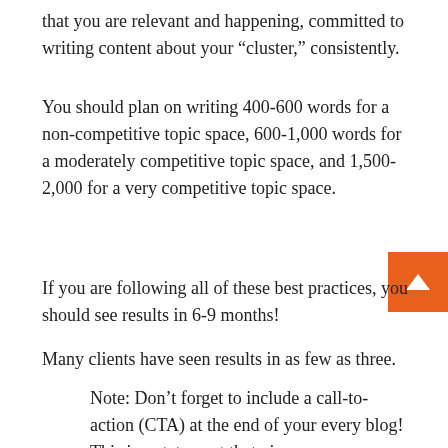that you are relevant and happening, committed to writing content about your “cluster,” consistently.
You should plan on writing 400-600 words for a non-competitive topic space, 600-1,000 words for a moderately competitive topic space, and 1,500-2,000 for a very competitive topic space.
If you are following all of these best practices, you should see results in 6-9 months!
Many clients have seen results in as few as three.
Note: Don’t forget to include a call-to-action (CTA) at the end of your every blog! This is a statement that gives your